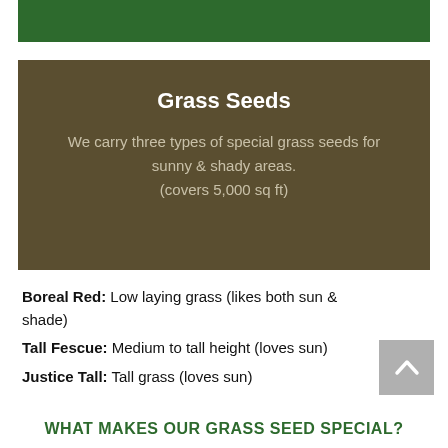[Figure (other): Green horizontal bar at top of page]
Grass Seeds
We carry three types of special grass seeds for sunny & shady areas. (covers 5,000 sq ft)
Boreal Red: Low laying grass (likes both sun & shade)
Tall Fescue: Medium to tall height (loves sun)
Justice Tall: Tall grass (loves sun)
WHAT MAKES OUR GRASS SEED SPECIAL?